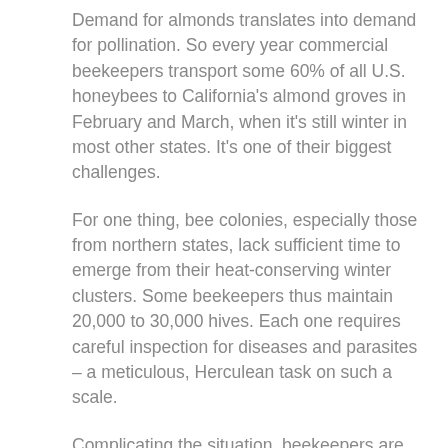Demand for almonds translates into demand for pollination. So every year commercial beekeepers transport some 60% of all U.S. honeybees to California's almond groves in February and March, when it's still winter in most other states. It's one of their biggest challenges.
For one thing, bee colonies, especially those from northern states, lack sufficient time to emerge from their heat-conserving winter clusters. Some beekeepers thus maintain 20,000 to 30,000 hives. Each one requires careful inspection for diseases and parasites – a meticulous, Herculean task on such a scale.
Complicating the situation, beekeepers are trying to work within a large-scale agricultural system, using an insect whose husbandry practices have changed little since the nineteenth century. The larger the